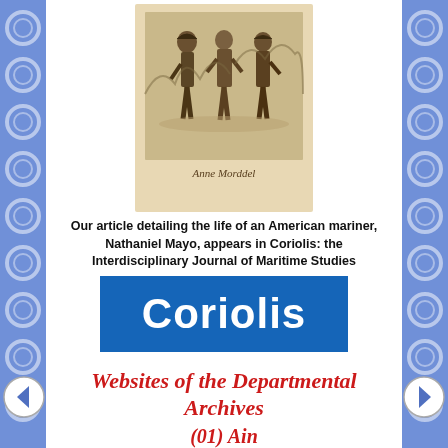[Figure (illustration): Book cover showing an etching of three figures (mariners/sailors) standing together, with the name 'Anne Morddel' below the illustration on a beige/tan background]
Our article detailing the life of an American mariner, Nathaniel Mayo, appears in Coriolis: the Interdisciplinary Journal of Maritime Studies
[Figure (logo): Coriolis journal logo — white bold text 'Coriolis' on a blue rectangle background]
Websites of the Departmental Archives
(01) Ain